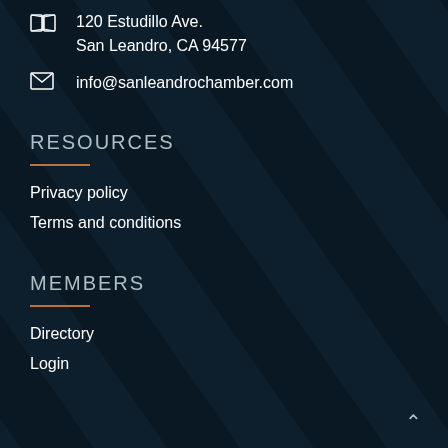120 Estudillo Ave.
San Leandro, CA 94577
info@sanleandrochamber.com
RESOURCES
Privacy policy
Terms and conditions
MEMBERS
Directory
Login